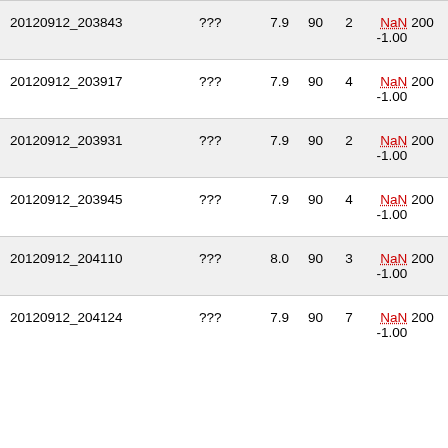| 20120912_203843 | ??? | 7.9 | 90 | 2 | NaN
-1.00 | 200 |
| 20120912_203917 | ??? | 7.9 | 90 | 4 | NaN
-1.00 | 200 |
| 20120912_203931 | ??? | 7.9 | 90 | 2 | NaN
-1.00 | 200 |
| 20120912_203945 | ??? | 7.9 | 90 | 4 | NaN
-1.00 | 200 |
| 20120912_204110 | ??? | 8.0 | 90 | 3 | NaN
-1.00 | 200 |
| 20120912_204124 | ??? | 7.9 | 90 | 7 | NaN
-1.00 | 200 |